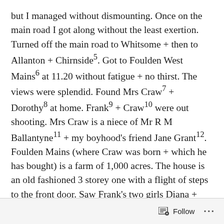but I managed without dismounting. Once on the main road I got along without the least exertion. Turned off the main road to Whitsome + then to Allanton + Chirnside⁵. Got to Foulden West Mains⁶ at 11.20 without fatigue + no thirst. The views were splendid. Found Mrs Craw⁷ + Dorothy⁸ at home. Frank⁹ + Craw¹⁰ were out shooting. Mrs Craw is a niece of Mr R M Ballantyne¹¹ + my boyhood's friend Jane Grant¹². Foulden Mains (where Craw was born + which he has bought) is a farm of 1,000 acres. The house is an old fashioned 3 storey one with a flight of steps to the front door. Saw Frank's two girls Diana + Margaret¹³. Had lunch + left at 2, returning via Hutton + turning off by Kelso racecourse. The wind was against me + I was pretty tired when I got back. Had a lovely Jargonelle pear¹⁴ that Craw gave me, at Mainberry.
Follow ···